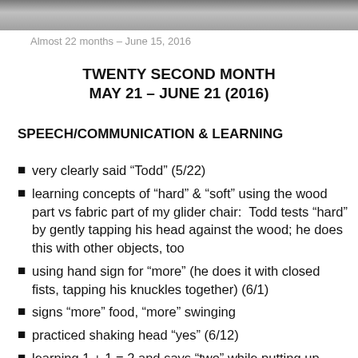[Figure (photo): Cropped photo strip at top of page showing partial images of people]
Almost 22 months – June 15, 2016
TWENTY SECOND MONTH
MAY 21 – JUNE 21 (2016)
SPEECH/COMMUNICATION & LEARNING
very clearly said “Todd” (5/22)
learning concepts of “hard” & “soft” using the wood part vs fabric part of my glider chair:  Todd tests “hard” by gently tapping his head against the wood; he does this with other objects, too
using hand sign for “more” (he does it with closed fists, tapping his knuckles together) (6/1)
signs “more” food, “more” swinging
practiced shaking head “yes” (6/12)
learning 1 + 1 = 2 and says “two” while putting up index